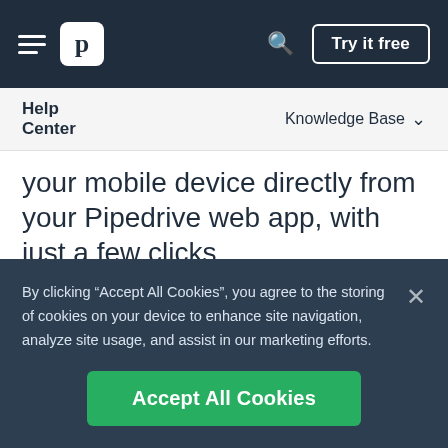Pipedrive navigation bar with hamburger menu, logo, search icon, and Try it free button
Help Center | Knowledge Base
your mobile device directly from your Pipedrive web app, with just a few clicks.
In order to use our Web-to-mobile feature, you will need to have the Pipedrive app installed on your device. Once it is set up
By clicking “Accept All Cookies”, you agree to the storing of cookies on your device to enhance site navigation, analyze site usage, and assist in our marketing efforts.
Accept All Cookies